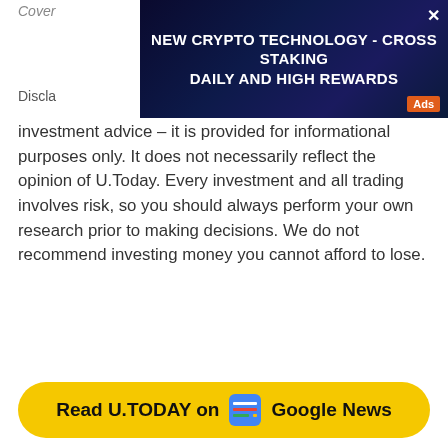Cover
[Figure (other): Advertisement banner: NEW CRYPTO TECHNOLOGY - CROSS STAKING DAILY AND HIGH REWARDS. Dark blue background with crypto visual elements. Ads label in orange.]
Discla[imer]
investment advice – it is provided for informational purposes only. It does not necessarily reflect the opinion of U.Today. Every investment and all trading involves risk, so you should always perform your own research prior to making decisions. We do not recommend investing money you cannot afford to lose.
[Figure (other): Yellow rounded button: Read U.TODAY on [Google News icon] Google News]
Shiba Inu (SHIB), the second-largest meme cryptocurrency, has slipped below Polygon (MATIC) and Dai (DAI) on CoinMarketCap.
It is now in the 14th place by market capitalization after shedding almost 7% over the past week.